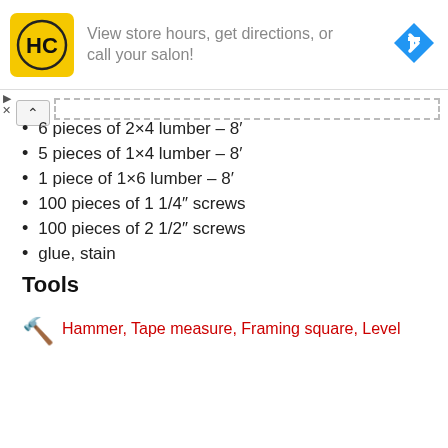[Figure (infographic): Advertisement banner with HC logo (yellow background with black HC letters), text 'View store hours, get directions, or call your salon!' and a blue diamond navigation arrow icon on the right]
6 pieces of 2×4 lumber – 8′
5 pieces of 1×4 lumber – 8′
1 piece of 1×6 lumber – 8′
100 pieces of 1 1/4″ screws
100 pieces of 2 1/2″ screws
glue, stain
Tools
Hammer, Tape measure, Framing square, Level